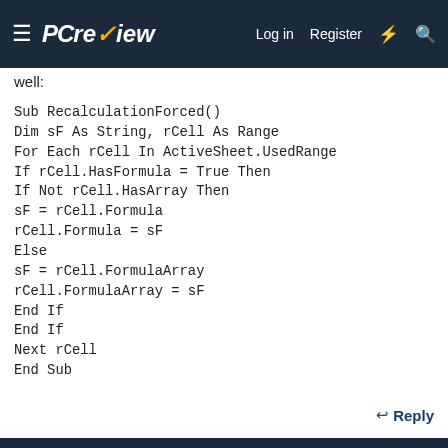PCreview — Log in  Register
well:
Sub RecalculationForced()
Dim sF As String, rCell As Range
For Each rCell In ActiveSheet.UsedRange
If rCell.HasFormula = True Then
If Not rCell.HasArray Then
sF = rCell.Formula
rCell.Formula = sF
Else
sF = rCell.FormulaArray
rCell.FormulaArray = sF
End If
End If
Next rCell
End Sub
Reply